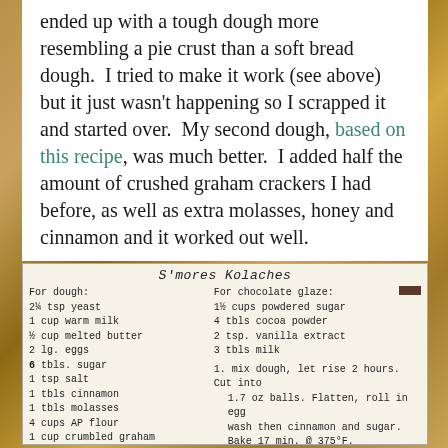ended up with a tough dough more resembling a pie crust than a soft bread dough. I tried to make it work (see above) but it just wasn't happening so I scrapped it and started over. My second dough, based on this recipe, was much better. I added half the amount of crushed graham crackers I had before, as well as extra molasses, honey and cinnamon and it worked out well.
[Figure (photo): Handwritten recipe card for S'mores Kolaches listing ingredients for dough and chocolate glaze, plus two numbered instructions.]